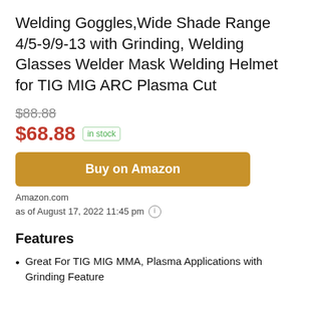Welding Goggles,Wide Shade Range 4/5-9/9-13 with Grinding, Welding Glasses Welder Mask Welding Helmet for TIG MIG ARC Plasma Cut
$88.88 (strikethrough original price)
$68.88 in stock
Buy on Amazon
Amazon.com
as of August 17, 2022 11:45 pm
Features
Great For TIG MIG MMA, Plasma Applications with Grinding Feature